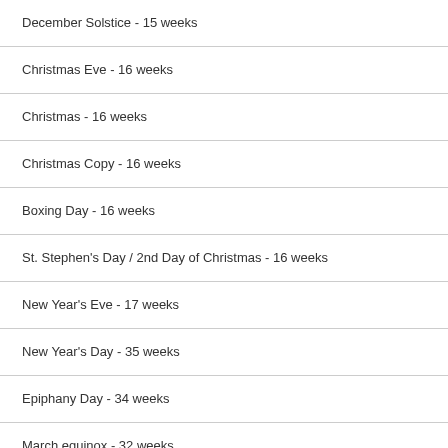December Solstice - 15 weeks
Christmas Eve - 16 weeks
Christmas - 16 weeks
Christmas Copy - 16 weeks
Boxing Day - 16 weeks
St. Stephen's Day / 2nd Day of Christmas - 16 weeks
New Year's Eve - 17 weeks
New Year's Day - 35 weeks
Epiphany Day - 34 weeks
March equinox - 32 weeks
Super Bowl LVII - 22 weeks
Super Bowl LVII - 22 weeks
Valentine's Day - 28 weeks